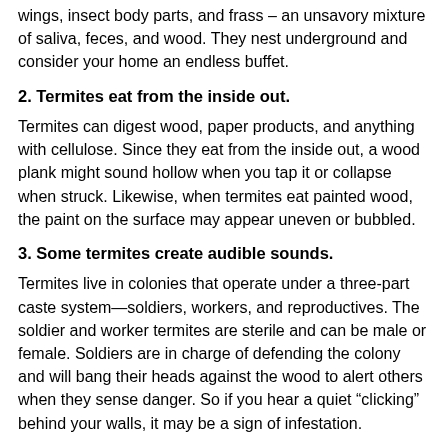wings, insect body parts, and frass – an unsavory mixture of saliva, feces, and wood. They nest underground and consider your home an endless buffet.
2. Termites eat from the inside out.
Termites can digest wood, paper products, and anything with cellulose. Since they eat from the inside out, a wood plank might sound hollow when you tap it or collapse when struck. Likewise, when termites eat painted wood, the paint on the surface may appear uneven or bubbled.
3. Some termites create audible sounds.
Termites live in colonies that operate under a three-part caste system—soldiers, workers, and reproductives. The soldier and worker termites are sterile and can be male or female. Soldiers are in charge of defending the colony and will bang their heads against the wood to alert others when they sense danger. So if you hear a quiet “clicking” behind your walls, it may be a sign of infestation.
4. Termites can remain active in winter.